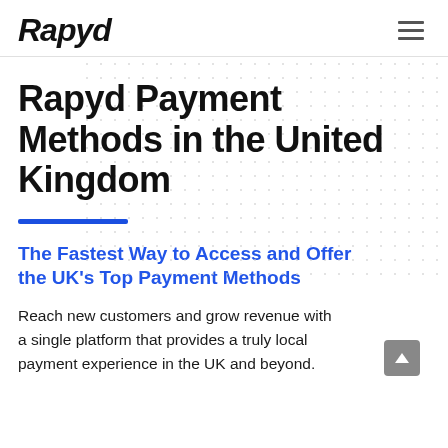Rapyd
Rapyd Payment Methods in the United Kingdom
The Fastest Way to Access and Offer the UK's Top Payment Methods
Reach new customers and grow revenue with a single platform that provides a truly local payment experience in the UK and beyond.